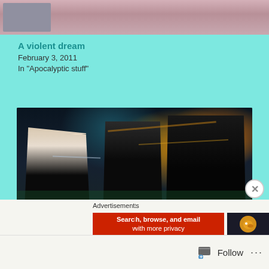[Figure (photo): Partial top image crop — pink/grey toned outdoor scene]
A violent dream
February 3, 2011
In "Apocalyptic stuff"
[Figure (photo): Three young men standing on a city street at night, city lights in background with green tint]
Advertisements
[Figure (screenshot): Ad banner: Search, browse, and email with more privacy — DuckDuckGo logo]
Follow  ...